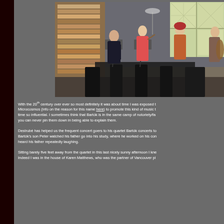[Figure (photo): Indoor photo of a string quartet rehearsing or performing in a living room/library setting. A pianist or violinist on left in dark suit, two women playing violin in center, a woman on the right playing cello. Bookshelves and windows visible in background.]
With the 20th century over ever so most definitely it was about time I was exposed to Microcosmos (info on the reason for this name here) to promote this kind of music that was at the time so influential. I sometimes think that Bartók is in the same camp of notoriety/fame that you can never pin them down in being able to explain them.
Destrubé has helped us the frequent concert goers to his quartet Bartók concerts to understand Bartók's son Peter watched his father go into his study, where he worked on his compositions, and heard his father repeatedly laughing.
Sitting barely five feet away from the quartet in this last nicely sunny afternoon I kne... Indeed I was in the house of Karen Matthews, who was the partner of Vancouver pl...